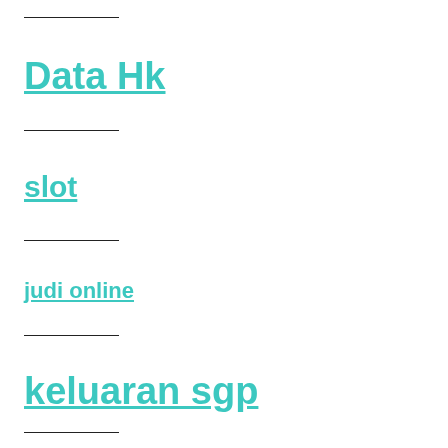Data Hk
slot
judi online
keluaran sgp
Demo Slot Pragmatic